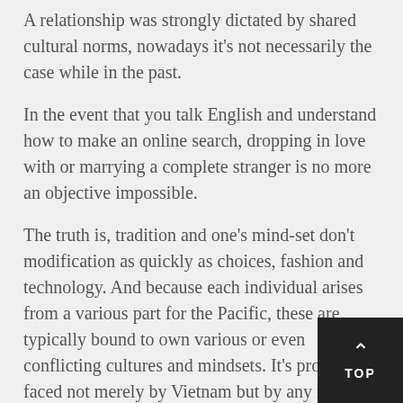A relationship was strongly dictated by shared cultural norms, nowadays it's not necessarily the case while in the past.
In the event that you talk English and understand how to make an online search, dropping in love with or marrying a complete stranger is no more an objective impossible.
The truth is, tradition and one's mind-set don't modification as quickly as choices, fashion and technology. And because each individual arises from a various part for the Pacific, these are typically bound to own various or even conflicting cultures and mindsets. It's problem faced not merely by Vietnam but by any nation suffering from globalisation.